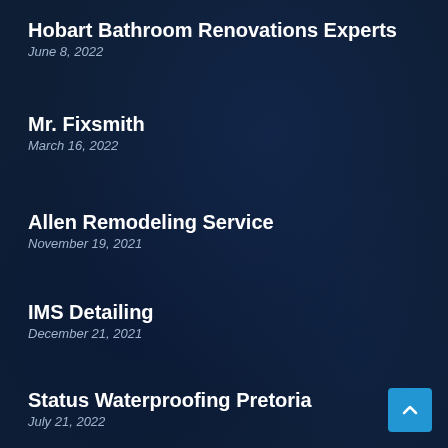Hobart Bathroom Renovations Experts
June 8, 2022
Mr. Fixsmith
March 16, 2022
Allen Remodeling Service
November 19, 2021
IMS Detailing
December 21, 2021
Status Waterproofing Pretoria
July 21, 2022